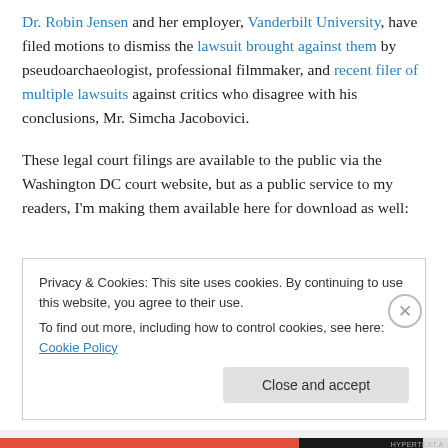Dr. Robin Jensen and her employer, Vanderbilt University, have filed motions to dismiss the lawsuit brought against them by pseudoarchaeologist, professional filmmaker, and recent filer of multiple lawsuits against critics who disagree with his conclusions, Mr. Simcha Jacobovici.
These legal court filings are available to the public via the Washington DC court website, but as a public service to my readers, I'm making them available here for download as well:
Privacy & Cookies: This site uses cookies. By continuing to use this website, you agree to their use.
To find out more, including how to control cookies, see here: Cookie Policy